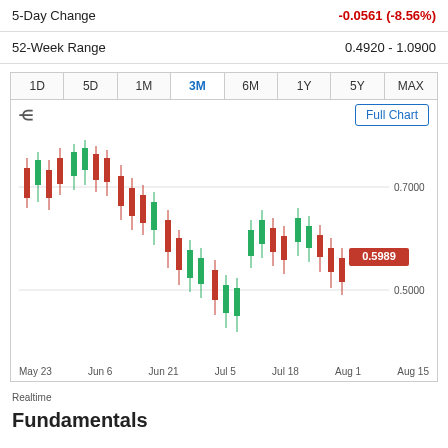5-Day Change    -0.0561 (-8.56%)
52-Week Range    0.4920 - 1.0900
[Figure (continuous-plot): 3-Month candlestick chart showing stock price from May 23 to Aug 15. Price ranged from approximately 0.4920 to 1.0900. Current price marked at 0.5989 in red label. Horizontal gridlines at 0.5000 and 0.7000. Time period tabs: 1D, 5D, 1M, 3M (selected), 6M, 1Y, 5Y, MAX. Full Chart button visible. X-axis labels: May 23, Jun 6, Jun 21, Jul 5, Jul 18, Aug 1, Aug 15.]
Realtime
Fundamentals